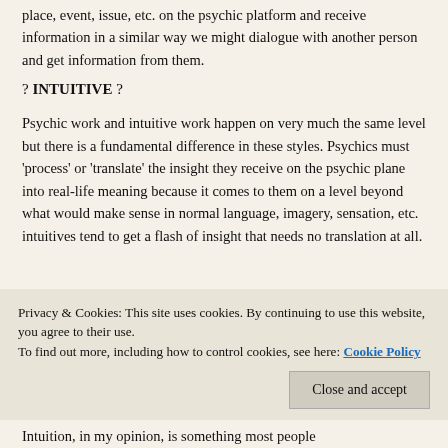place, event, issue, etc. on the psychic platform and receive information in a similar way we might dialogue with another person and get information from them.
? INTUITIVE ?
Psychic work and intuitive work happen on very much the same level but there is a fundamental difference in these styles. Psychics must 'process' or 'translate' the insight they receive on the psychic plane into real-life meaning because it comes to them on a level beyond what would make sense in normal language, imagery, sensation, etc. intuitives tend to get a flash of insight that needs no translation at all.
Privacy & Cookies: This site uses cookies. By continuing to use this website, you agree to their use.
To find out more, including how to control cookies, see here: Cookie Policy
Intuition, in my opinion, is something most people